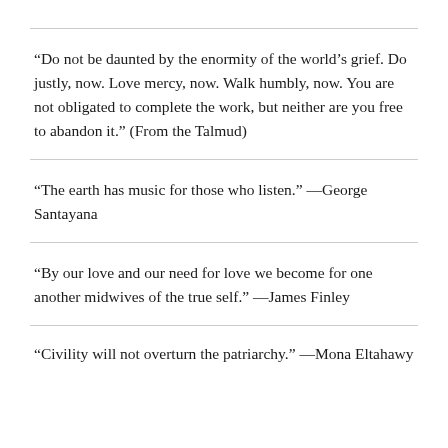“Do not be daunted by the enormity of the world’s grief. Do justly, now. Love mercy, now. Walk humbly, now. You are not obligated to complete the work, but neither are you free to abandon it.” (From the Talmud)
“The earth has music for those who listen.” —George Santayana
“By our love and our need for love we become for one another midwives of the true self.” —James Finley
“Civility will not overturn the patriarchy.” —Mona Eltahawy